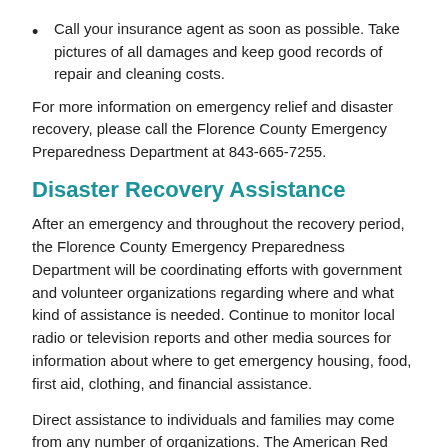Call your insurance agent as soon as possible.  Take pictures of all damages and keep good records of repair and cleaning costs.
For more information on emergency relief and disaster recovery, please call the Florence County Emergency Preparedness Department at 843-665-7255.
Disaster Recovery Assistance
After an emergency and throughout the recovery period, the Florence County Emergency Preparedness Department will be coordinating efforts with government and volunteer organizations regarding where and what kind of assistance is needed.  Continue to monitor local radio or television reports and other media sources for information about where to get emergency housing, food, first aid, clothing, and financial assistance.
Direct assistance to individuals and families may come from any number of organizations.  The American Red Cross is often stationed at the disaster site to help people with their most immediate medical, food, and housing needs.  Other volunteer organizations may be present as well.